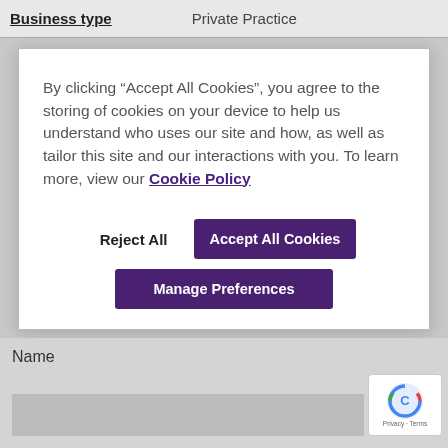Business type    Private Practice
By clicking “Accept All Cookies”, you agree to the storing of cookies on your device to help us understand who uses our site and how, as well as tailor this site and our interactions with you. To learn more, view our Cookie Policy
Reject All
Accept All Cookies
Manage Preferences
Name
[Figure (logo): reCAPTCHA logo with Privacy - Terms text]